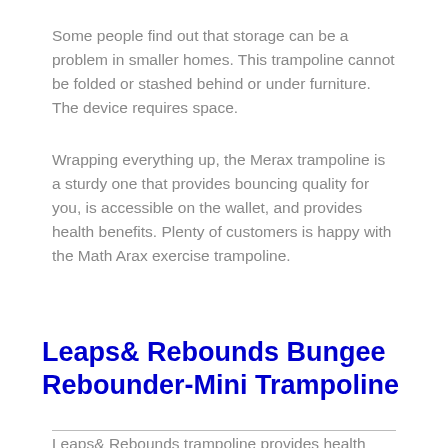Some people find out that storage can be a problem in smaller homes. This trampoline cannot be folded or stashed behind or under furniture. The device requires space.
Wrapping everything up, the Merax trampoline is a sturdy one that provides bouncing quality for you, is accessible on the wallet, and provides health benefits. Plenty of customers is happy with the Math Arax exercise trampoline.
Leaps& Rebounds Bungee Rebounder-Mini Trampoline
Leaps& Rebounds trampoline provides health